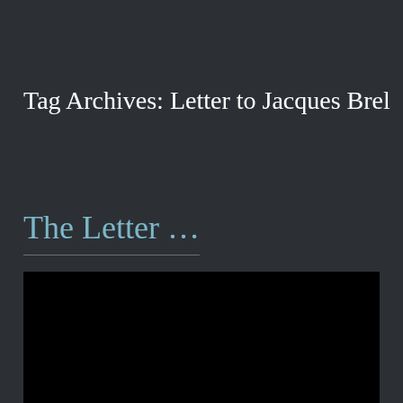Tag Archives: Letter to Jacques Brel
The Letter …
[Figure (photo): Black rectangle representing an embedded video or image below the article title]